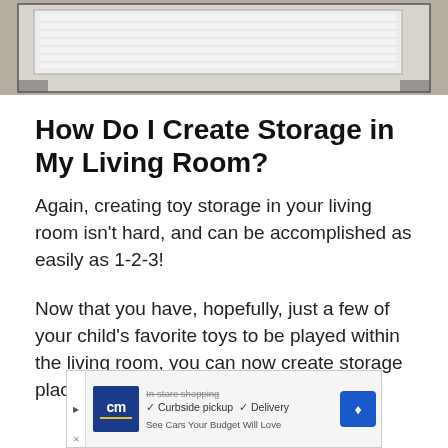[Figure (photo): Top portion of a white rectangular object (possibly a mattress or foam block) on a dark background, partially cropped]
How Do I Create Storage in My Living Room?
Again, creating toy storage in your living room isn't hard, and can be accomplished as easily as 1-2-3!
Now that you have, hopefully, just a few of your child's favorite toys to be played within the living room, you can now create storage places
[Figure (screenshot): Advertisement banner for Cars.com (cm logo) with checkmarks for Curbside pickup and Delivery, and See Cars Your Budget Will Love text]